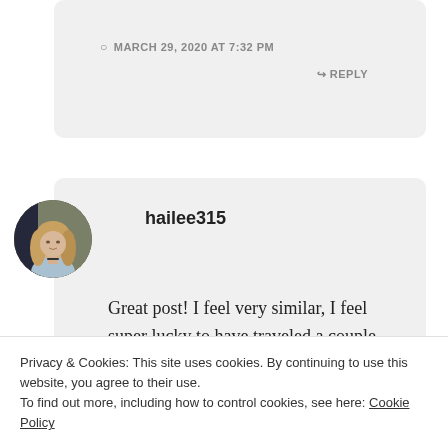MARCH 29, 2020 AT 7:32 PM
REPLY
[Figure (photo): Circular avatar photo of a young woman with light hair, wearing a dark top, outdoor background]
hailee315
Great post! I feel very similar, I feel super lucky to have traveled a couple
Privacy & Cookies: This site uses cookies. By continuing to use this website, you agree to their use.
To find out more, including how to control cookies, see here: Cookie Policy
Close and accept
to make the most of my